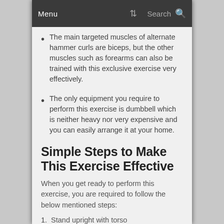Menu  Search
The main targeted muscles of alternate hammer curls are biceps, but the other muscles such as forearms can also be trained with this exclusive exercise very effectively.
The only equipment you require to perform this exercise is dumbbell which is neither heavy nor very expensive and you can easily arrange it at your home.
Simple Steps to Make This Exercise Effective
When you get ready to perform this exercise, you are required to follow the below mentioned steps:
Stand upright with torso